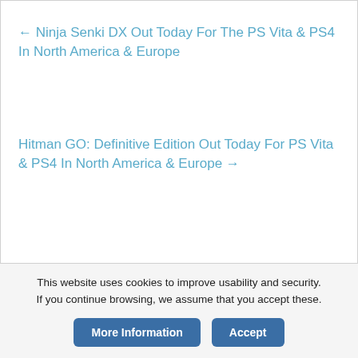← Ninja Senki DX Out Today For The PS Vita & PS4 In North America & Europe
Hitman GO: Definitive Edition Out Today For PS Vita & PS4 In North America & Europe →
This website uses cookies to improve usability and security. If you continue browsing, we assume that you accept these.
More Information
Accept